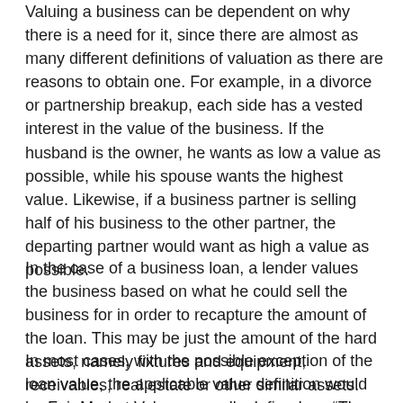Valuing a business can be dependent on why there is a need for it, since there are almost as many different definitions of valuation as there are reasons to obtain one. For example, in a divorce or partnership breakup, each side has a vested interest in the value of the business. If the husband is the owner, he wants as low a value as possible, while his spouse wants the highest value. Likewise, if a business partner is selling half of his business to the other partner, the departing partner would want as high a value as possible.
In the case of a business loan, a lender values the business based on what he could sell the business for in order to recapture the amount of the loan. This may be just the amount of the hard assets, namely fixtures and equipment, receivables, real estate or other similar assets.
In most cases, with the possible exception of the loan value, the applicable value definition would be Fair Market Value, normally defined as: “The price at which the